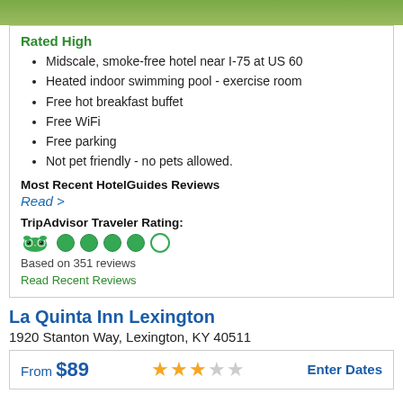[Figure (photo): Green outdoor photo strip at top of page]
Rated High
Midscale, smoke-free hotel near I-75 at US 60
Heated indoor swimming pool - exercise room
Free hot breakfast buffet
Free WiFi
Free parking
Not pet friendly - no pets allowed.
Most Recent HotelGuides Reviews
Read >
TripAdvisor Traveler Rating:
[Figure (infographic): TripAdvisor logo and 4 out of 5 circles rating]
Based on 351 reviews
Read Recent Reviews
La Quinta Inn Lexington
1920 Stanton Way, Lexington, KY 40511
From $89
[Figure (infographic): 3 out of 5 star rating]
Enter Dates